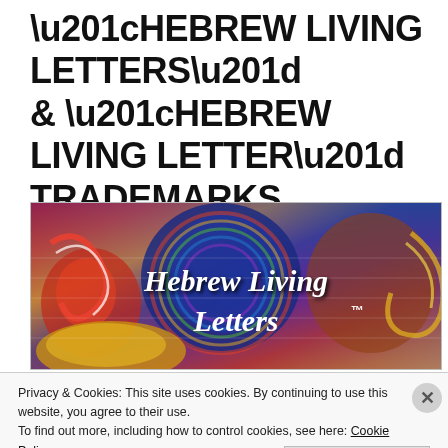“HEBREW LIVING LETTERS” & “HEBREW LIVING LETTER” TRADEMARKS
[Figure (illustration): Colorful artistic banner image with abstract Hebrew letter shapes in vivid colors (red, blue, yellow, purple, orange). Overlaid text reads 'Hebrew Living Letters ™' in bold white italic font on the colorful background.]
Privacy & Cookies: This site uses cookies. By continuing to use this website, you agree to their use.
To find out more, including how to control cookies, see here: Cookie Policy